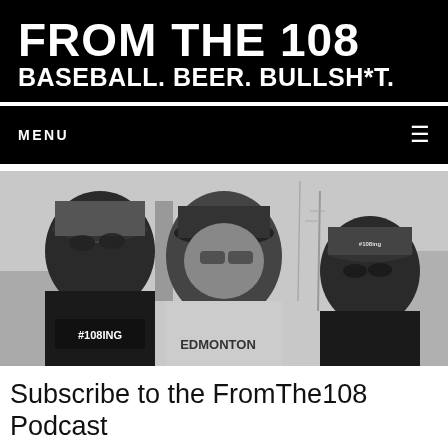FROM THE 108
BASEBALL. BEER. BULLSH*T.
MENU
[Figure (photo): Black and white photo of three men wearing baseball caps and casual clothes, with a city skyline visible in the background. The man on the left wears a shirt reading #108ING. The middle man wears a baseball jersey. The man on the right wears a cap reading #108ing.]
Subscribe to the FromThe108 Podcast